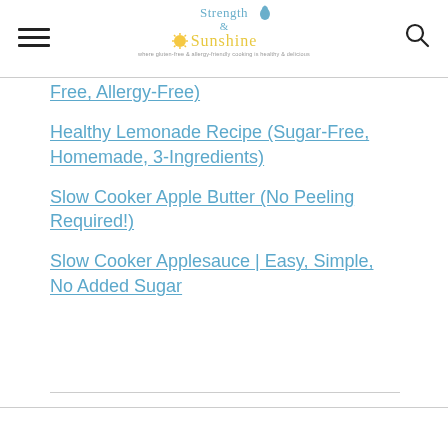Strength & Sunshine — where gluten-free & allergy-friendly cooking is healthy & delicious
Free, Allergy-Free)
Healthy Lemonade Recipe (Sugar-Free, Homemade, 3-Ingredients)
Slow Cooker Apple Butter (No Peeling Required!)
Slow Cooker Applesauce | Easy, Simple, No Added Sugar